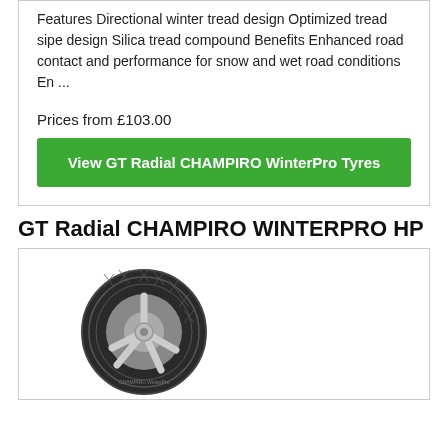Features Directional winter tread design Optimized tread sipe design Silica tread compound Benefits Enhanced road contact and performance for snow and wet road conditions En ...
Prices from £103.00
View GT Radial CHAMPIRO WinterPro Tyres
GT Radial CHAMPIRO WINTERPRO HP
[Figure (photo): GT Radial CHAMPIRO WINTERPRO HP tyre product photo showing tread pattern and alloy wheel]